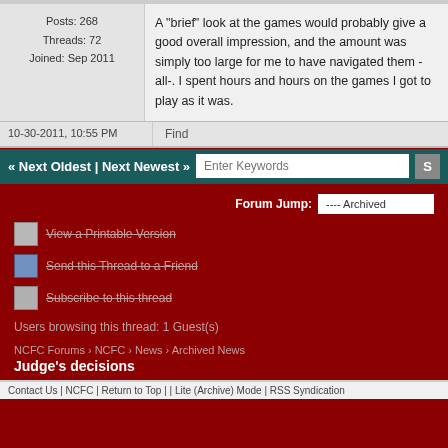Posts: 268
Threads: 72
Joined: Sep 2011
A "brief" look at the games would proba... good overall impression, and the amoun... was simply too large for me to have navi... them -all-. I spent hours and hours on th... games I got to play as it was.
10-30-2011, 10:55 PM
Find
« Next Oldest | Next Newest »
Enter Keywords
View a Printable Version
Send this Thread to a Friend
Subscribe to this thread
Forum Jump:
---- Archived
Users browsing this thread: 1 Guest(s)
NCFC Forums › NCFC › News › Archived News
Judge's decisions
Contact Us | NCFC | Return to Top | | Lite (Archive) Mode | RSS Syndication